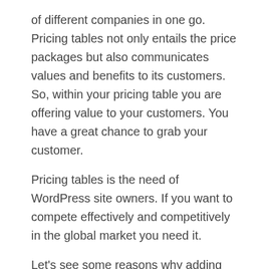of different companies in one go. Pricing tables not only entails the price packages but also communicates values and benefits to its customers. So, within your pricing table you are offering value to your customers. You have a great chance to grab your customer.
Pricing tables is the need of WordPress site owners. If you want to compete effectively and competitively in the global market you need it.
Let’s see some reasons why adding pricing tables in your WordPress site is important:
Great way to compare similar products
Gives you an opportunity to provide your